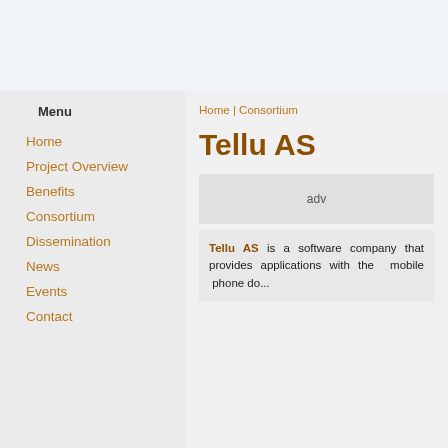Menu
Home
Project Overview
Benefits
Consortium
Dissemination
News
Events
Contact
Home | Consortium
Tellu AS
adv
Tellu AS is a software company that provides applications with the mobile phone...